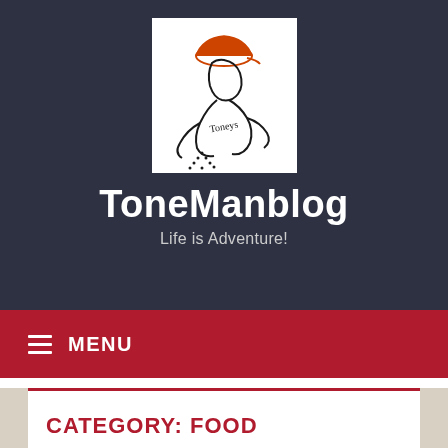[Figure (illustration): Hand-drawn sketch illustration of a person wearing an orange cap, leaning forward, with text 'Toneys' written on shirt, on white background]
ToneManblog
Life is Adventure!
MENU
CATEGORY: FOOD
[Figure (photo): Partial photo of food items, appears to be baked goods or pastries on a light background]